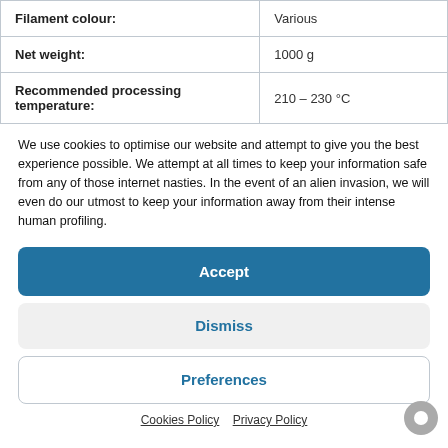| Filament colour: | Various |
| Net weight: | 1000 g |
| Recommended processing temperature: | 210 – 230 °C |
We use cookies to optimise our website and attempt to give you the best experience possible. We attempt at all times to keep your information safe from any of those internet nasties. In the event of an alien invasion, we will even do our utmost to keep your information away from their intense human profiling.
Accept
Dismiss
Preferences
Cookies Policy   Privacy Policy